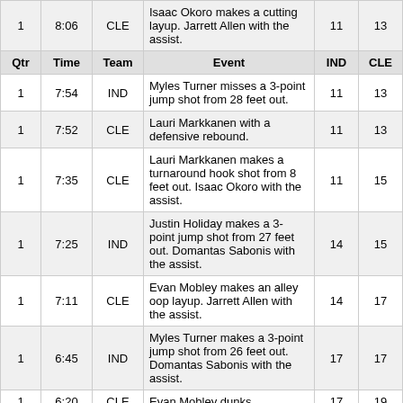| Qtr | Time | Team | Event | IND | CLE |
| --- | --- | --- | --- | --- | --- |
| 1 | 8:06 | CLE | Isaac Okoro makes a cutting layup. Jarrett Allen with the assist. | 11 | 13 |
| Qtr | Time | Team | Event | IND | CLE |
| 1 | 7:54 | IND | Myles Turner misses a 3-point jump shot from 28 feet out. | 11 | 13 |
| 1 | 7:52 | CLE | Lauri Markkanen with a defensive rebound. | 11 | 13 |
| 1 | 7:35 | CLE | Lauri Markkanen makes a turnaround hook shot from 8 feet out. Isaac Okoro with the assist. | 11 | 15 |
| 1 | 7:25 | IND | Justin Holiday makes a 3-point jump shot from 27 feet out. Domantas Sabonis with the assist. | 14 | 15 |
| 1 | 7:11 | CLE | Evan Mobley makes an alley oop layup. Jarrett Allen with the assist. | 14 | 17 |
| 1 | 6:45 | IND | Myles Turner makes a 3-point jump shot from 26 feet out. Domantas Sabonis with the assist. | 17 | 17 |
| 1 | 6:20 | CLE | Evan Mobley dunks. | 17 | 19 |
| 1 | 6:12 | IND | Justin Holiday misses a 3-point jump shot from 25 feet out. | 17 | 19 |
| 1 | 6:09 | CLE | Evan Mobley with a defensive rebound. | 17 | 19 |
| 1 | 6:01 | CLE | Lauri Markkanen misses a 3-point jump shot from 31 feet out. | 17 | 19 |